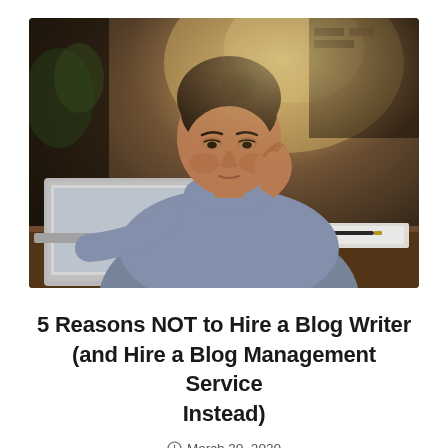[Figure (photo): A young woman with dark hair pulled back, wearing a light blue top, sitting at a table in a café or office setting. She has her right hand raised to her neck in a stressed or thoughtful pose. An open laptop is visible on the left, and papers with a pen are on the table in front of her. The background is blurred with warm bokeh lighting.]
5 Reasons NOT to Hire a Blog Writer (and Hire a Blog Management Service Instead)
March 30, 2020